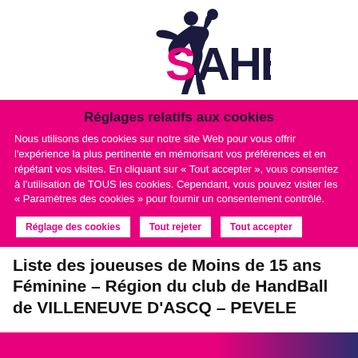[Figure (logo): SAHB handball club logo with a female player silhouette and stylized SAHB text in dark navy and magenta/pink]
Réglages relatifs aux cookies
Nous utilisons des cookies sur notre site Web pour vous offrir l'expérience la plus pertinente en mémorisant vos préférences et en répétant vos visites. En cliquant sur « Tout accepter », vous consentez à l'utilisation de TOUS les cookies. Cependant, vous pouvez visiter les « Paramètres des cookies » pour fournir un consentement contrôlé.
Réglage des cookies
Tout rejeter
Tout accepter
Liste des joueuses de Moins de 15 ans Féminine – Région du club de HandBall de VILLENEUVE D'ASCQ – PEVELE
[Figure (other): Bottom pink to dark gradient bar]